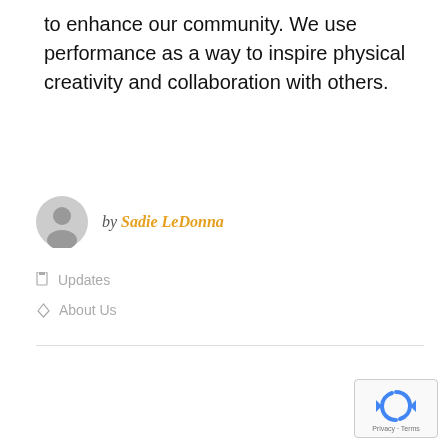to enhance our community. We use performance as a way to inspire physical creativity and collaboration with others.
by Sadie LeDonna
Updates
About Us
[Figure (logo): reCAPTCHA badge with spinning arrows logo and Privacy - Terms text]